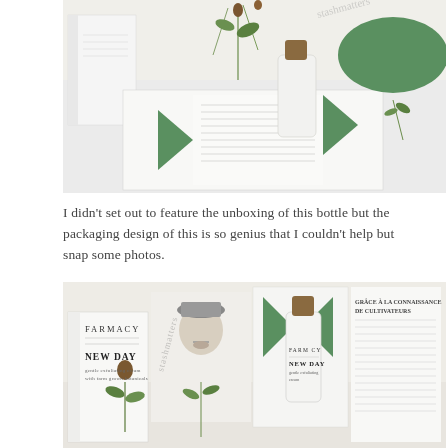[Figure (photo): Product unboxing photo showing Farmacy New Day skincare packaging — white box with green geometric triangle accents, an opened folded box revealing a white bottle with cork cap and botanical illustrations including cone flowers]
I didn't set out to feature the unboxing of this bottle but the packaging design of this is so genius that I couldn't help but snap some photos.
[Figure (photo): Second unboxing photo showing Farmacy New Day product packaging laid flat — the box opened showing inner panels with a portrait of a man in a hat (farmer), botanical illustrations, French text about cultivators, and the white bottle with cork top alongside the outer box labeled FARMACY NEW DAY]